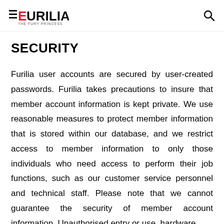EURILIA THE FURY PRINCESS
SECURITY
Furilia user accounts are secured by user-created passwords. Furilia takes precautions to insure that member account information is kept private. We use reasonable measures to protect member information that is stored within our database, and we restrict access to member information to only those individuals who need access to perform their job functions, such as our customer service personnel and technical staff. Please note that we cannot guarantee the security of member account information. Unauthorised entry or use, hardware or software failure, and other factors may compromise the security of member information at any time.